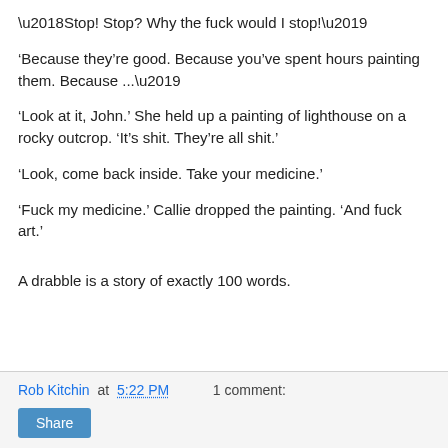‘Stop!  Stop?  Why the fuck would I stop!’
‘Because they’re good.  Because you’ve spent hours painting them.  Because ...’
‘Look at it, John.’  She held up a painting of lighthouse on a rocky outcrop.  ‘It’s shit.  They’re all shit.’
‘Look, come back inside.  Take your medicine.’
‘Fuck my medicine.’ Callie dropped the painting.  ‘And fuck art.’
A drabble is a story of exactly 100 words.
Rob Kitchin at 5:22 PM    1 comment: